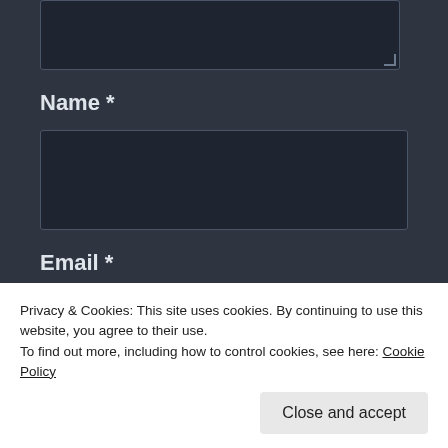[Figure (screenshot): Partial text area input at top of page, cut off]
Name *
[Figure (screenshot): Name input field, empty text box]
Email *
[Figure (screenshot): Email input field, empty text box]
Privacy & Cookies: This site uses cookies. By continuing to use this website, you agree to their use.
To find out more, including how to control cookies, see here: Cookie Policy
Close and accept